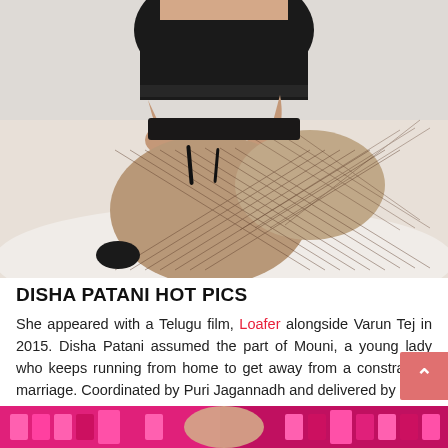[Figure (photo): A woman wearing black lingerie and fishnet stockings, seated on a white surface, photographed from torso down.]
DISHA PATANI HOT PICS
She appeared with a Telugu film, Loafer alongside Varun Tej in 2015. Disha Patani assumed the part of Mouni, a young lady who keeps running from home to get away from a constrained marriage. Coordinated by Puri Jagannadh and delivered by C.
[Figure (photo): Partial view of another image at the bottom of the page showing colorful text/graphics in pink and magenta tones.]